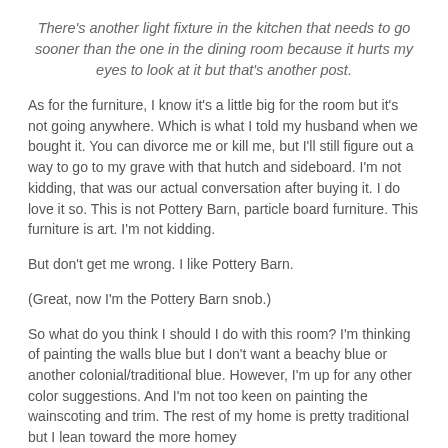There's another light fixture in the kitchen that needs to go sooner than the one in the dining room because it hurts my eyes to look at it but that's another post.
As for the furniture, I know it's a little big for the room but it's not going anywhere. Which is what I told my husband when we bought it. You can divorce me or kill me, but I'll still figure out a way to go to my grave with that hutch and sideboard. I'm not kidding, that was our actual conversation after buying it. I do love it so. This is not Pottery Barn, particle board furniture. This furniture is art. I'm not kidding.
But don't get me wrong. I like Pottery Barn.
(Great, now I'm the Pottery Barn snob.)
So what do you think I should I do with this room? I'm thinking of painting the walls blue but I don't want a beachy blue or another colonial/traditional blue. However, I'm up for any other color suggestions. And I'm not too keen on painting the wainscoting and trim. The rest of my home is pretty traditional but I lean toward the more homey